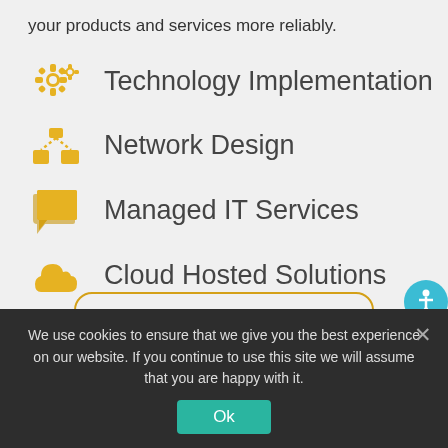your products and services more reliably.
Technology Implementation
Network Design
Managed IT Services
Cloud Hosted Solutions
We use cookies to ensure that we give you the best experience on our website. If you continue to use this site we will assume that you are happy with it.